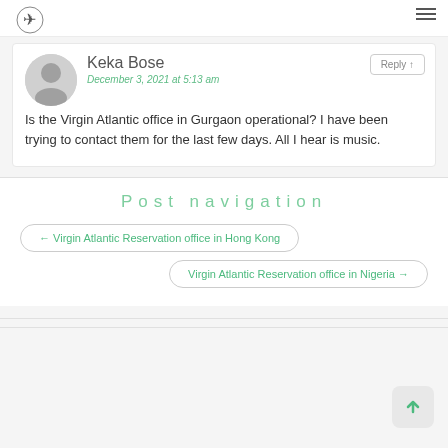Keka Bose
December 3, 2021 at 5:13 am
Is the Virgin Atlantic office in Gurgaon operational? I have been trying to contact them for the last few days. All I hear is music.
Post navigation
← Virgin Atlantic Reservation office in Hong Kong
Virgin Atlantic Reservation office in Nigeria →